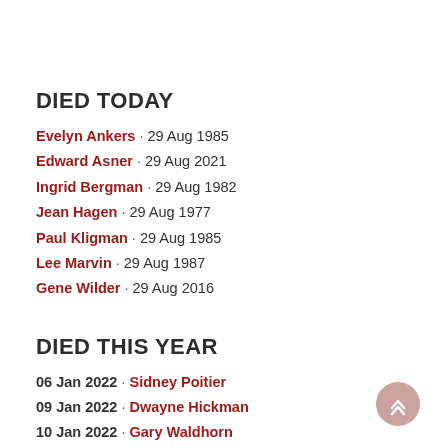DIED TODAY
Evelyn Ankers · 29 Aug 1985
Edward Asner · 29 Aug 2021
Ingrid Bergman · 29 Aug 1982
Jean Hagen · 29 Aug 1977
Paul Kligman · 29 Aug 1985
Lee Marvin · 29 Aug 1987
Gene Wilder · 29 Aug 2016
DIED THIS YEAR
06 Jan 2022 · Sidney Poitier
09 Jan 2022 · Dwayne Hickman
10 Jan 2022 · Gary Waldhorn
18 Jan 2022 · Peter Robbins
29 Jan 2022 · Howard Hesseman